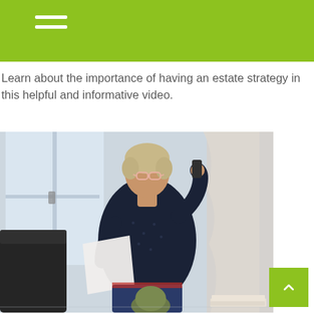Learn about the importance of having an estate strategy in this helpful and informative video.
[Figure (photo): An older woman with short blonde hair and glasses stands holding papers and talking on a phone, wearing a dark navy polka-dot blouse and jeans, in a bright office setting near a window with curtains, a dark chair visible on the left, a small plant and stack of papers on the right.]